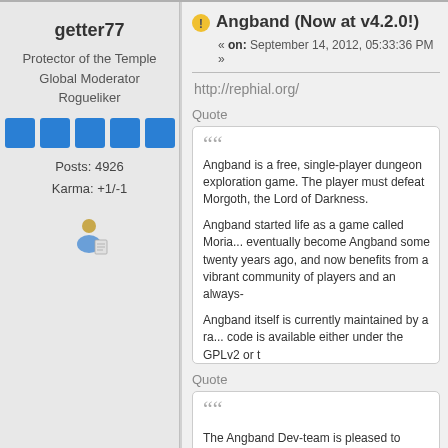getter77
Protector of the Temple
Global Moderator
Rogueliker
Posts: 4926
Karma: +1/-1
Angband (Now at v4.2.0!)
« on: September 14, 2012, 05:33:36 PM »
http://rephial.org/
Quote
Angband is a free, single-player dungeon ex... Morgoth, the Lord of Darkness.

Angband started life as a game called Moria... eventually become Angband some twenty ye... vibrant community of players and an always-...

Angband itself is currently maintained by a ra... code is available either under the GPLv2 or t...
Quote
The Angband Dev-team is pleased to annou... to refresh your browser.) The source can als...

Here are some of the most notable gameplay...

-A new 64x64 tile set (by Shockbolt)
Many new monster pits and nests.